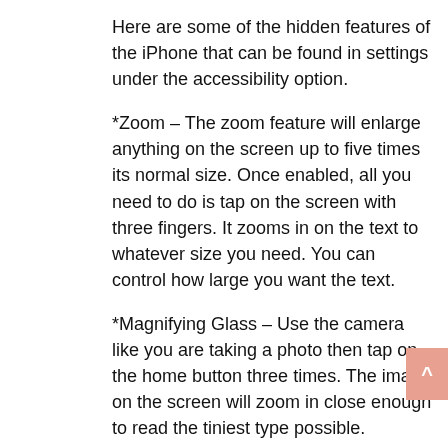Here are some of the hidden features of the iPhone that can be found in settings under the accessibility option.
*Zoom – The zoom feature will enlarge anything on the screen up to five times its normal size. Once enabled, all you need to do is tap on the screen with three fingers. It zooms in on the text to whatever size you need. You can control how large you want the text.
*Magnifying Glass – Use the camera like you are taking a photo then tap on the home button three times. The image on the screen will zoom in close enough to read the tiniest type possible.
*Text To Speech – Whatever is on the screen this feature will read it to you. You can control the pitch and speed of the voice as well.